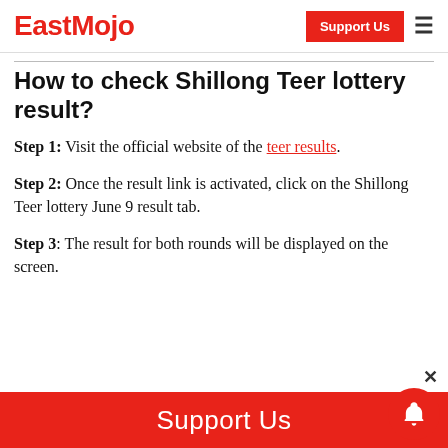EastMojo | Support Us
How to check Shillong Teer lottery result?
Step 1: Visit the official website of the teer results.
Step 2: Once the result link is activated, click on the Shillong Teer lottery June 9 result tab.
Step 3: The result for both rounds will be displayed on the screen.
Support Us